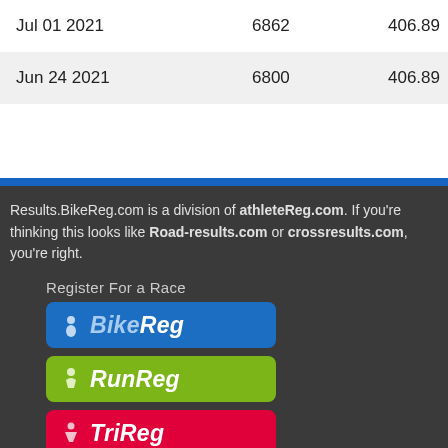| Jul 01 2021 | 6862 | 406.89 |
| Jun 24 2021 | 6800 | 406.89 |
Results.BikeReg.com is a division of athleteReg.com. If you're thinking this looks like Road-results.com or crossresults.com, you're right.
Register For a Race
[Figure (logo): BikeReg logo - blue rounded rectangle with cyclist icon and BikeReg text in italic bold white/light blue]
[Figure (logo): RunReg logo - green rounded rectangle with runner icon and RunReg text in italic bold white]
[Figure (logo): TriReg logo - red/pink rounded rectangle with triathlete icon and TriReg text in italic bold white]